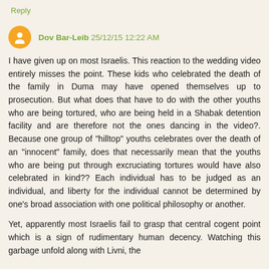Reply
Dov Bar-Leib 25/12/15 12:22 AM
I have given up on most Israelis. This reaction to the wedding video entirely misses the point. These kids who celebrated the death of the family in Duma may have opened themselves up to prosecution. But what does that have to do with the other youths who are being tortured, who are being held in a Shabak detention facility and are therefore not the ones dancing in the video?. Because one group of "hilltop" youths celebrates over the death of an "innocent" family, does that necessarily mean that the youths who are being put through excruciating tortures would have also celebrated in kind?? Each individual has to be judged as an individual, and liberty for the individual cannot be determined by one's broad association with one political philosophy or another.
Yet, apparently most Israelis fail to grasp that central cogent point which is a sign of rudimentary human decency. Watching this garbage unfold along with Livni, the